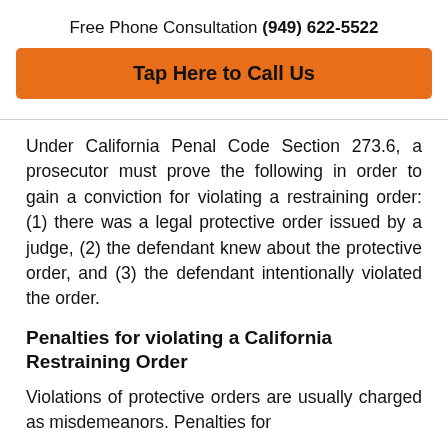Free Phone Consultation (949) 622-5522
Tap Here to Call Us
Under California Penal Code Section 273.6, a prosecutor must prove the following in order to gain a conviction for violating a restraining order: (1) there was a legal protective order issued by a judge, (2) the defendant knew about the protective order, and (3) the defendant intentionally violated the order.
Penalties for violating a California Restraining Order
Violations of protective orders are usually charged as misdemeanors. Penalties for